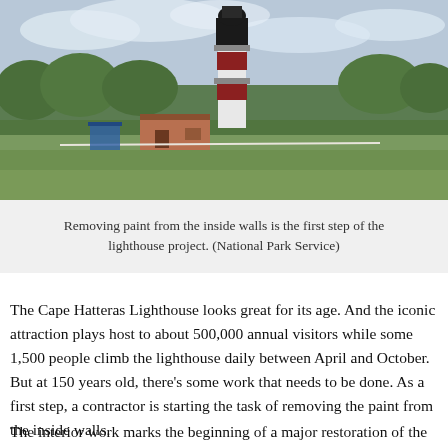[Figure (photo): Outdoor photograph of Cape Hatteras Lighthouse — a tall black and white lighthouse with a red brick base, surrounded by green trees and a grassy field under a cloudy sky.]
Removing paint from the inside walls is the first step of the lighthouse project. (National Park Service)
The Cape Hatteras Lighthouse looks great for its age. And the iconic attraction plays host to about 500,000 annual visitors while some 1,500 people climb the lighthouse daily between April and October. But at 150 years old, there’s some work that needs to be done. As a first step, a contractor is starting the task of removing the paint from the inside walls.
The interior work marks the beginning of a major restoration of the lighthouse that is expected to take at least a year. According to the National Park Service (NPS), the full project will include repairs on everything from deteriorated masonry to marble flooring to the